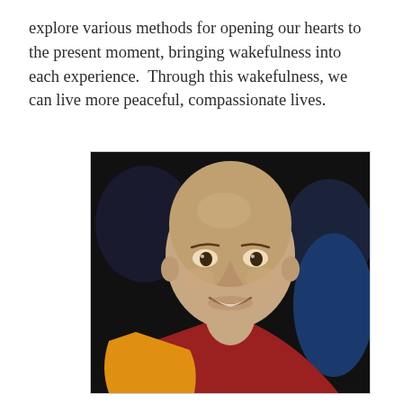explore various methods for opening our hearts to the present moment, bringing wakefulness into each experience.  Through this wakefulness, we can live more peaceful, compassionate lives.
[Figure (photo): Portrait photo of a smiling bald Buddhist monk wearing saffron yellow and maroon red robes, with a dark background showing other people out of focus.]